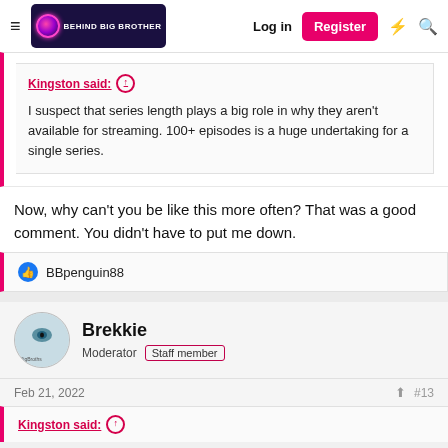Behind Big Brother — Log in | Register
Kingston said: ↑
I suspect that series length plays a big role in why they aren't available for streaming. 100+ episodes is a huge undertaking for a single series.
Now, why can't you be like this more often? That was a good comment. You didn't have to put me down.
👍 BBpenguin88
Brekkie
Moderator  Staff member
Feb 21, 2022   #13
Kingston said: ↑